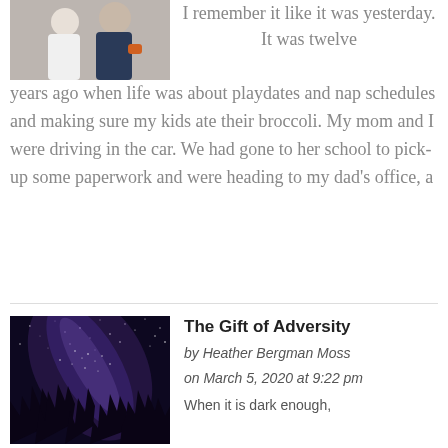[Figure (photo): Two people, one in white top and one in dark jacket, close up photo]
I remember it like it was yesterday. It was twelve years ago when life was about playdates and nap schedules and making sure my kids ate their broccoli. My mom and I were driving in the car. We had gone to her school to pick-up some paperwork and were heading to my dad's office, a
[Figure (photo): Night sky with Milky Way galaxy visible above silhouette of trees]
The Gift of Adversity
by Heather Bergman Moss
on March 5, 2020 at 9:22 pm
When it is dark enough,